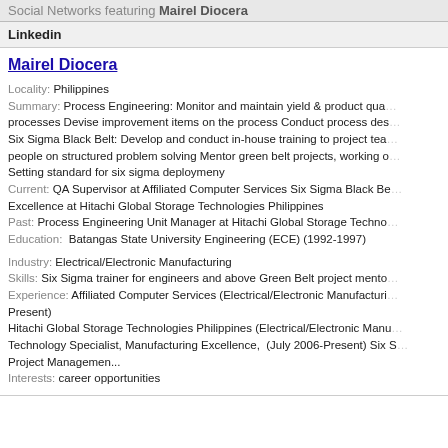Social Networks featuring Mairel Diocera
Linkedin
Mairel Diocera
Locality: Philippines
Summary: Process Engineering: Monitor and maintain yield & product quality on the processes Devise improvement items on the process Conduct process design Six Sigma Black Belt: Develop and conduct in-house training to project team and people on structured problem solving Mentor green belt projects, working on Setting standard for six sigma deploymeny
Current: QA Supervisor at Affiliated Computer Services Six Sigma Black Belt Excellence at Hitachi Global Storage Technologies Philippines
Past: Process Engineering Unit Manager at Hitachi Global Storage Technologies
Education:  Batangas State University Engineering (ECE) (1992-1997)
Industry: Electrical/Electronic Manufacturing
Skills: Six Sigma trainer for engineers and above Green Belt project mentor
Experience: Affiliated Computer Services (Electrical/Electronic Manufacturing) Present)
Hitachi Global Storage Technologies Philippines (Electrical/Electronic Manufacturing) Technology Specialist, Manufacturing Excellence,  (July 2006-Present) Six Sigma Project Managemen...
Interests: career opportunities